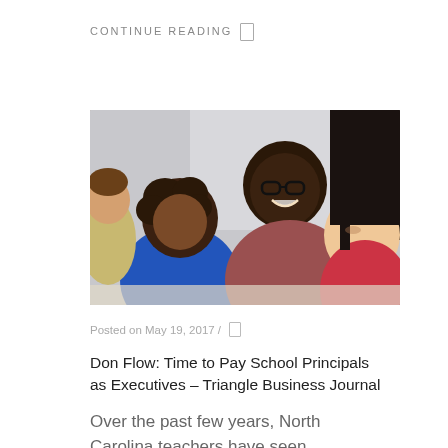CONTINUE READING
[Figure (photo): A smiling Black male teacher wearing glasses leaning toward two children — a Black child in a blue shirt and an Asian girl — who appear to be working on something at a desk. Another child is visible in the background at left.]
Posted on May 19, 2017 /
Don Flow: Time to Pay School Principals as Executives – Triangle Business Journal
Over the past few years, North Carolina teachers have seen significant pay increases. Signals from